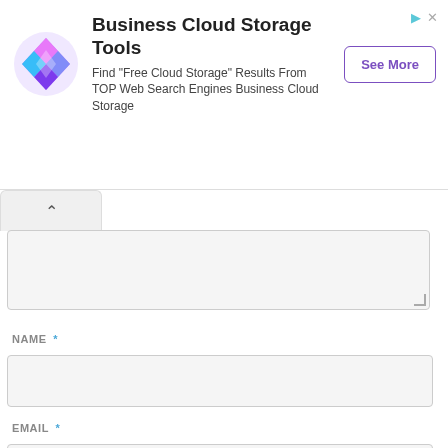[Figure (screenshot): Advertisement banner for Business Cloud Storage Tools with a colorful diamond logo, title, description text, and a 'See More' button.]
NAME *
EMAIL *
WEBSITE